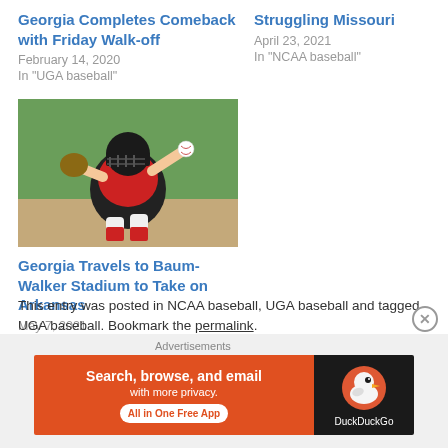Georgia Completes Comeback with Friday Walk-off
February 14, 2020
In "UGA baseball"
Struggling Missouri
April 23, 2021
In "NCAA baseball"
[Figure (photo): Baseball catcher in red gear crouching and throwing]
Georgia Travels to Baum-Walker Stadium to Take on Arkansas
May 7, 2021
In "NCAA baseball"
This entry was posted in NCAA baseball, UGA baseball and tagged UGA baseball. Bookmark the permalink.
Advertisements
[Figure (other): DuckDuckGo advertisement banner: Search, browse, and email with more privacy. All in One Free App]